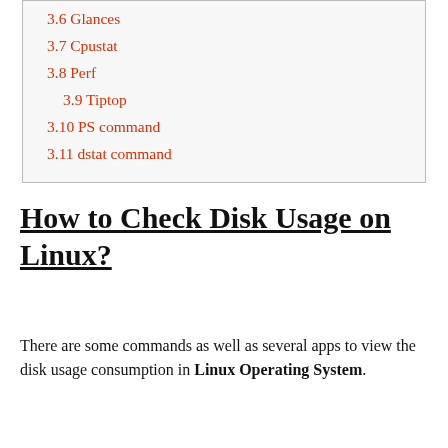3.6 Glances
3.7 Cpustat
3.8 Perf
3.9 Tiptop
3.10 PS command
3.11 dstat command
How to Check Disk Usage on Linux?
There are some commands as well as several apps to view the disk usage consumption in Linux Operating System.